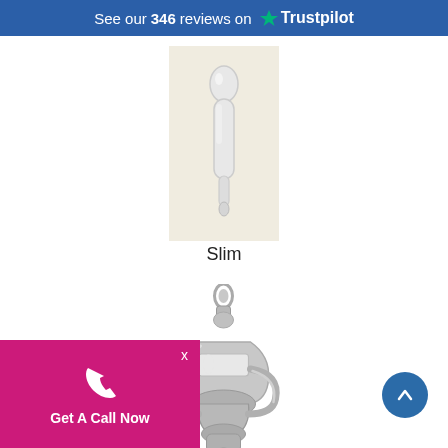See our 346 reviews on Trustpilot
[Figure (photo): A slim white door knocker product image on cream background]
Slim
[Figure (photo): A polished chrome/nickel urn-style door knocker product image]
Get A Call Now
[Figure (illustration): Magenta popup banner with phone icon and 'Get A Call Now' text, with X close button]
[Figure (illustration): Blue circular scroll-to-top button with upward arrow]